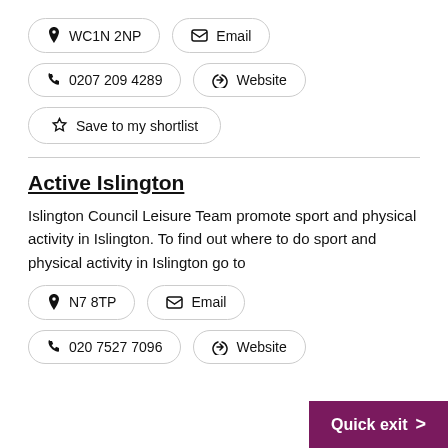📍 WC1N 2NP
✉ Email
📞 0207 209 4289
🔗 Website
☆ Save to my shortlist
Active Islington
Islington Council Leisure Team promote sport and physical activity in Islington. To find out where to do sport and physical activity in Islington go to
📍 N7 8TP
✉ Email
📞 020 7527 7096
🔗 Website
Quick exit >